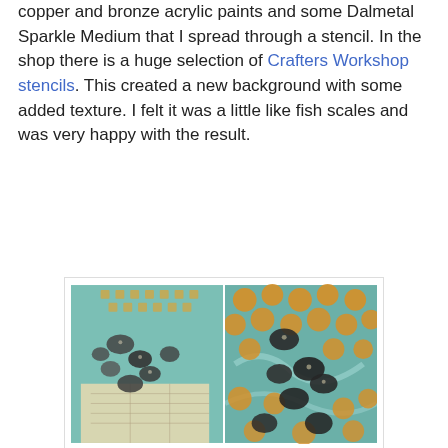copper and bronze acrylic paints and some Dalmetal Sparkle Medium that I spread through a stencil. In the shop there is a huge selection of Crafters Workshop stencils. This created a new background with some added texture. I felt it was a little like fish scales and was very happy with the result.
[Figure (photo): Two side-by-side close-up photos of an art journal spread showing stenciled texture with bronze/gold and dark metallic paint on a teal background. The left photo shows more of a map-paper collage visible beneath the texture, while the right photo shows brighter gold circular shapes contrasting with dark irregular metallic forms.]